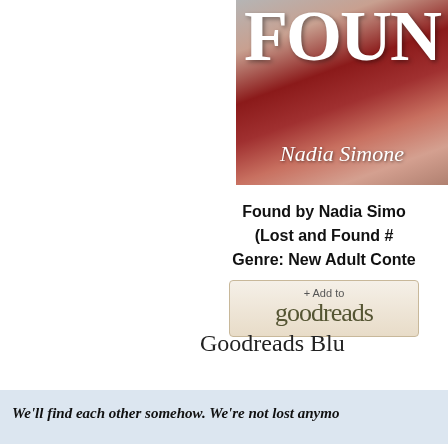[Figure (photo): Book cover of 'Found' by Nadia Simone, showing a dark reddish artistic background with the title text and author name]
Found by Nadia Simone
(Lost and Found #
Genre: New Adult Conte
[Figure (logo): Goodreads button with '+ Add to goodreads' text]
Goodreads Blu
We'll find each other somehow. We're not lost anymo